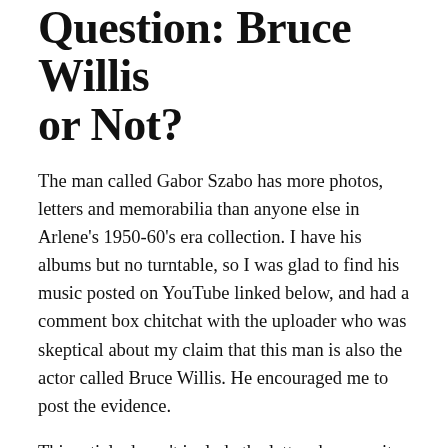Question: Bruce Willis or Not?
The man called Gabor Szabo has more photos, letters and memorabilia than anyone else in Arlene’s 1950-60’s era collection. I have his albums but no turntable, so I was glad to find his music posted on YouTube linked below, and had a comment box chitchat with the uploader who was skeptical about my claim that this man is also the actor called Bruce Willis. He encouraged me to post the evidence.
This article doesn’t include the letters because it would take forever to upload. Here I submit some of the photo evidence that I have, with one handwriting sample.
Bruce Willis photos online omit his younger photos